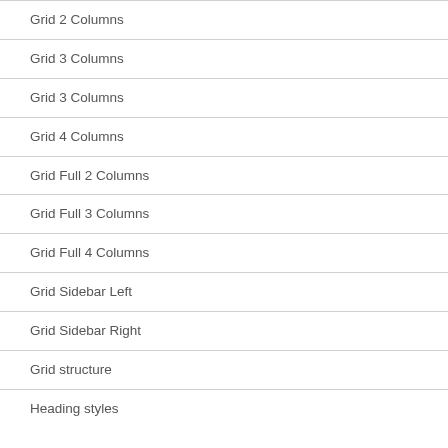Grid 2 Columns
Grid 3 Columns
Grid 3 Columns
Grid 4 Columns
Grid Full 2 Columns
Grid Full 3 Columns
Grid Full 4 Columns
Grid Sidebar Left
Grid Sidebar Right
Grid structure
Heading styles